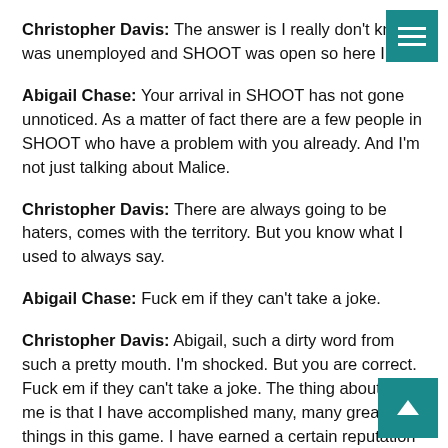Christopher Davis: The answer is I really don't know was unemployed and SHOOT was open so here I am.
Abigail Chase: Your arrival in SHOOT has not gone unnoticed. As a matter of fact there are a few people in SHOOT who have a problem with you already. And I'm not just talking about Malice.
Christopher Davis: There are always going to be haters, comes with the territory. But you know what I used to always say.
Abigail Chase: Fuck em if they can't take a joke.
Christopher Davis: Abigail, such a dirty word from such a pretty mouth. I'm shocked. But you are correct. Fuck em if they can't take a joke. The thing about being me is that I have accomplished many, many great things in this game. I have earned a certain reputation in this